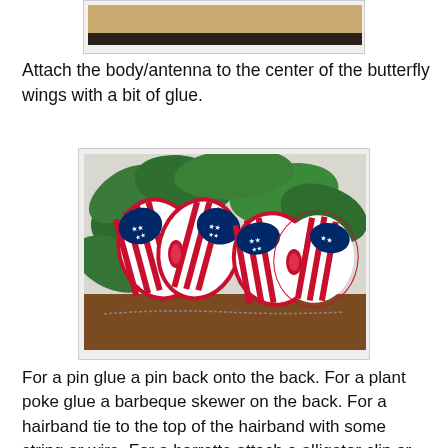[Figure (photo): Partial view of a photo showing a wooden surface and a dark object at the bottom]
Attach the body/antenna to the center of the butterfly wings with a bit of glue.
[Figure (photo): Two patriotic American flag-patterned fabric butterflies with red ribbon centers, displayed among green plant leaves on a brown surface]
For a pin glue a pin back onto the back.  For a plant poke glue a barbeque skewer on the back.  For a hairband tie to the top of the hairband with some string or wire.  For a barrette attach a alligator clip or French barrette to the back